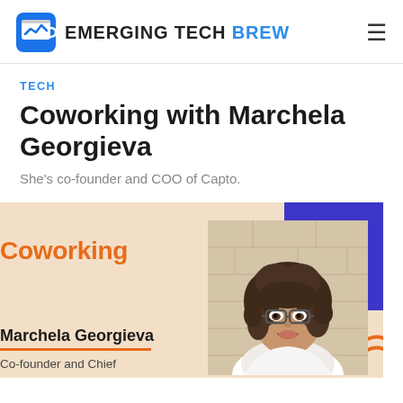EMERGING TECH BREW
TECH
Coworking with Marchela Georgieva
She's co-founder and COO of Capto.
[Figure (illustration): Promotional card with peach/tan background, orange 'Coworking' heading, photo of Marchela Georgieva (woman with curly hair and glasses), blue geometric accent top-right, orange squiggle bottom-right, name 'Marchela Georgieva' with orange underline, and partial text 'Co-founder and Chief']